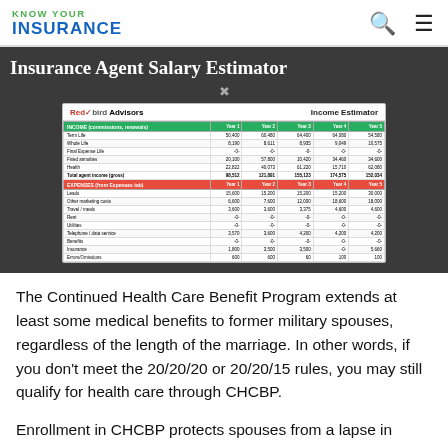KNOW YOUR INSURANCE
[Figure (screenshot): Insurance Agent Salary Estimator banner showing a Redbird Advisors Income Estimator spreadsheet with income (commissions/renewals) rows for Term Life, Whole Life, Final Expense Life, Final Annuities, Health, Total agent income (gross) and Expenses rows for Leads, Other marketing costs, Travel/meals, Rent, Utilities, Telephone/data service, Benefits, Insurance, Errors/Omissions — all across Year 1 through Year 5.]
The Continued Health Care Benefit Program extends at least some medical benefits to former military spouses, regardless of the length of the marriage. In other words, if you don't meet the 20/20/20 or 20/20/15 rules, you may still qualify for health care through CHCBP.
Enrollment in CHCBP protects spouses from a lapse in